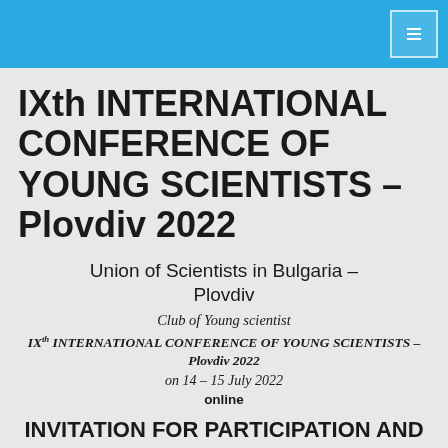IXth INTERNATIONAL CONFERENCE OF YOUNG SCIENTISTS – Plovdiv 2022
Union of Scientists in Bulgaria – Plovdiv
Club of Young scientist
IXth INTERNATIONAL CONFERENCE OF YOUNG SCIENTISTS – Plovdiv 2022
on 14 – 15 July 2022
online
INVITATION FOR PARTICIPATION AND ABSTRACT SUBMISSION